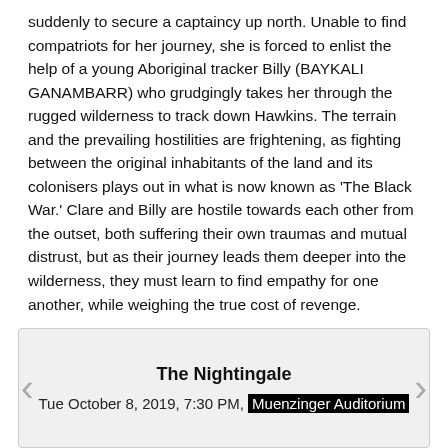suddenly to secure a captaincy up north. Unable to find compatriots for her journey, she is forced to enlist the help of a young Aboriginal tracker Billy (BAYKALI GANAMBARR) who grudgingly takes her through the rugged wilderness to track down Hawkins. The terrain and the prevailing hostilities are frightening, as fighting between the original inhabitants of the land and its colonisers plays out in what is now known as 'The Black War.' Clare and Billy are hostile towards each other from the outset, both suffering their own traumas and mutual distrust, but as their journey leads them deeper into the wilderness, they must learn to find empathy for one another, while weighing the true cost of revenge.
The Nightingale
Tue October 8, 2019, 7:30 PM, Muenzinger Auditorium